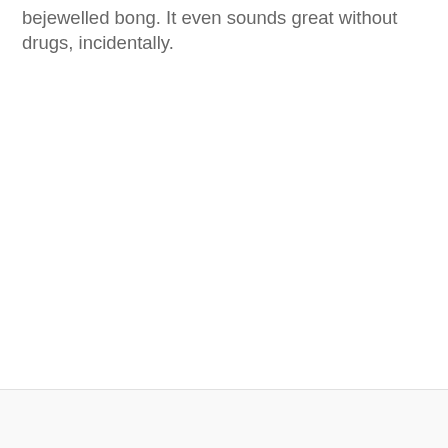bejewelled bong. It even sounds great without drugs, incidentally.